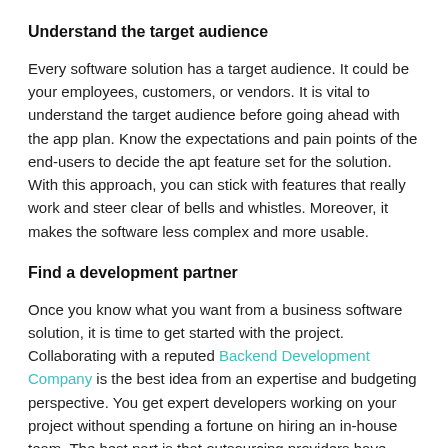Understand the target audience
Every software solution has a target audience. It could be your employees, customers, or vendors. It is vital to understand the target audience before going ahead with the app plan. Know the expectations and pain points of the end-users to decide the apt feature set for the solution. With this approach, you can stick with features that really work and steer clear of bells and whistles. Moreover, it makes the software less complex and more usable.
Find a development partner
Once you know what you want from a business software solution, it is time to get started with the project. Collaborating with a reputed Backend Development Company is the best idea from an expertise and budgeting perspective. You get expert developers working on your project without spending a fortune on hiring an in-house team. The best part is that outsourcing providers have diverse experiences working with different clients.